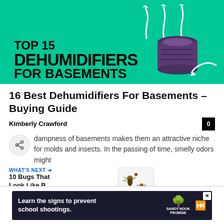[Figure (illustration): Hero banner image with teal/green background showing a dehumidifier device with steam arrows rising. Bold black text reads 'TOP 15 DEHUMIDIFIERS FOR BASEMENTS'.]
16 Best Dehumidifiers For Basements – Buying Guide
Kimberly Crawford
dampness of basements makes them an attractive niche for molds and insects. In the passing of time, smelly odors might
[Figure (infographic): WHAT'S NEXT navigation box with text '10 Bugs That Look Like B...' and a thumbnail image of bugs on white background.]
[Figure (infographic): Advertisement banner: dark background with text 'Learn the signs to prevent school shootings.' Sandy Hook Promise logo with green tree. Close button X visible.]